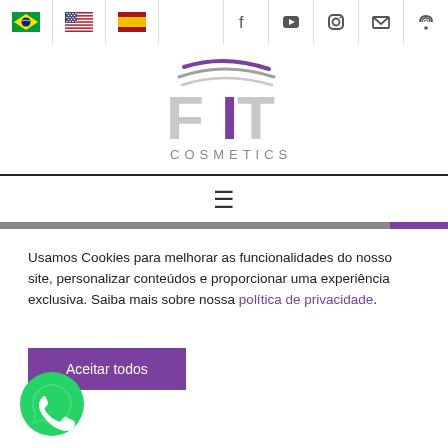Navigation bar with Brazilian, US, Spanish flags and social icons (Facebook, YouTube, Instagram, Email, RSS)
[Figure (logo): FIT Cosmetics logo with purple swoosh lines above stylized FIT letters and COSMETICS text below]
Hamburger menu icon (≡)
Usamos Cookies para melhorar as funcionalidades do nosso site, personalizar conteúdos e proporcionar uma experiência exclusiva. Saiba mais sobre nossa política de privacidade.
Aceitar todos
[Figure (illustration): WhatsApp green icon]